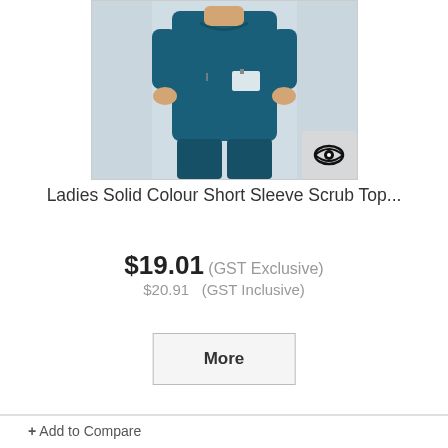[Figure (photo): Photo of a person wearing a teal/dark blue short sleeve scrub top with a name badge, standing in a clinical environment. An eye icon badge appears in the bottom-right corner of the image.]
Ladies Solid Colour Short Sleeve Scrub Top...
$19.01 (GST Exclusive) $20.91 (GST Inclusive)
More
+ Add to Compare